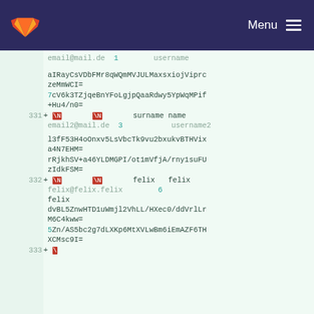GitLab navigation header with logo and Menu
email@mail.de  1  username
aIRayCsVDbFMr8qWQmMVJULMaxsxiojViprc
zeMmWCI=
7cV6k3TZjqeBnYFoLgjpQaaRdwy5YpWqMPif
+Hu4/n0=
331 + \N  \N  surname name
email2@mail.de  3  username2
l3fF53H4oOnxv5LsVbcTk9vu2bxukvBTHVix
a4N7EHM=
rRjkhSV+a46YLDMGPI/ot1mVfjA/rny1suFU
zIdkFSM=
332 + \N  \N  felix felix
felix@felix.felix  6  felix
dvBL5ZnwHTD1uWmjl2VhLL/HXec0/ddVrlLr
M6C4kww=
5Zn/AS5bc2g7dLXKp6MtXVLwBm6iEmAZF6TH
XCMsc9I=
333 +